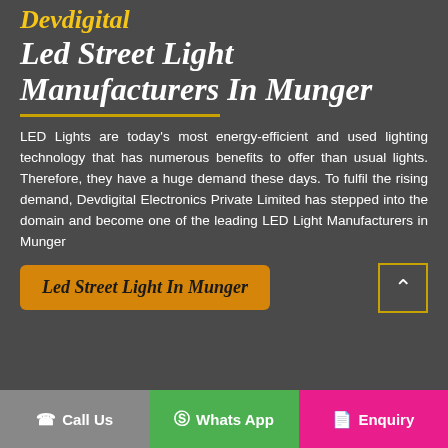Devdigital Led Street Light Manufacturers In Munger
LED Lights are today's most energy-efficient and used lighting technology that has numerous benefits to offer than usual lights. Therefore, they have a huge demand these days. To fulfil the rising demand, Devdigital Electronics Private Limited has stepped into the domain and become one of the leading LED Light Manufacturers in Munger
Led Street Light In Munger
Call Us | Whats App | Enquiry